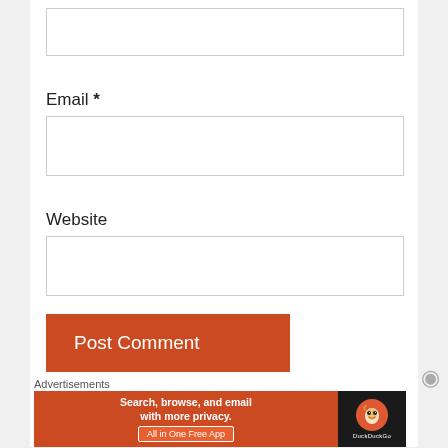Email *
Website
Post Comment
Notify me of new comments via email.
Advertisements
[Figure (infographic): DuckDuckGo advertisement banner: orange background with text 'Search, browse, and email with more privacy. All in One Free App' on left, black panel with DuckDuckGo logo and name on right.]